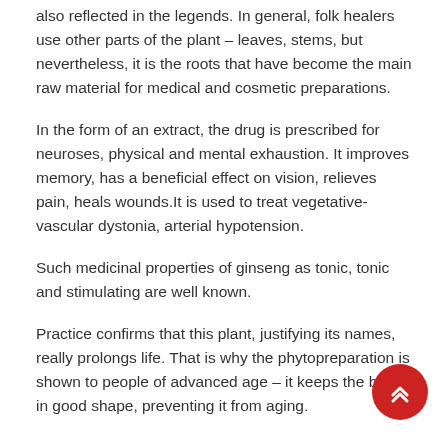also reflected in the legends. In general, folk healers use other parts of the plant – leaves, stems, but nevertheless, it is the roots that have become the main raw material for medical and cosmetic preparations.
In the form of an extract, the drug is prescribed for neuroses, physical and mental exhaustion. It improves memory, has a beneficial effect on vision, relieves pain, heals wounds.It is used to treat vegetative-vascular dystonia, arterial hypotension.
Such medicinal properties of ginseng as tonic, tonic and stimulating are well known.
Practice confirms that this plant, justifying its names, really prolongs life. That is why the phytopreparation is shown to people of advanced age – it keeps the body in good shape, preventing it from aging.